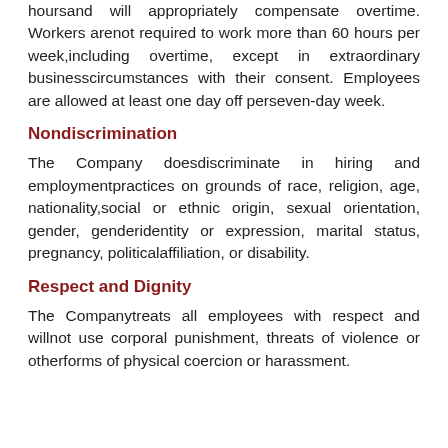hoursand will appropriately compensate overtime. Workers are not required to work more than 60 hours per week, including overtime, except in extraordinary business circumstances with their consent. Employees are allowed at least one day off per seven-day week.
Nondiscrimination
The Company does not discriminate in hiring and employment practices on grounds of race, religion, age, nationality, social or ethnic origin, sexual orientation, gender, gender identity or expression, marital status, pregnancy, political affiliation, or disability.
Respect and Dignity
The Company treats all employees with respect and will not use corporal punishment, threats of violence or other forms of physical coercion or harassment.